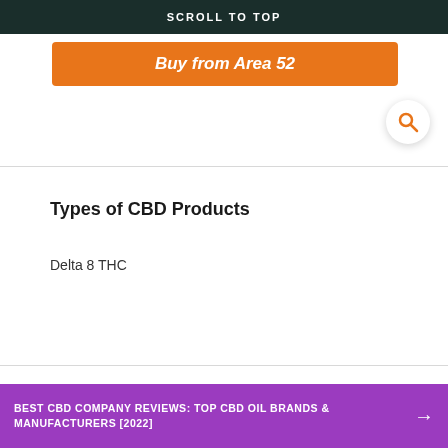SCROLL TO TOP
Buy from Area 52
Types of CBD Products
Delta 8 THC
Shipping
USA Only
Origin of Hemp
USA
BEST CBD COMPANY REVIEWS: TOP CBD OIL BRANDS & MANUFACTURERS [2022]